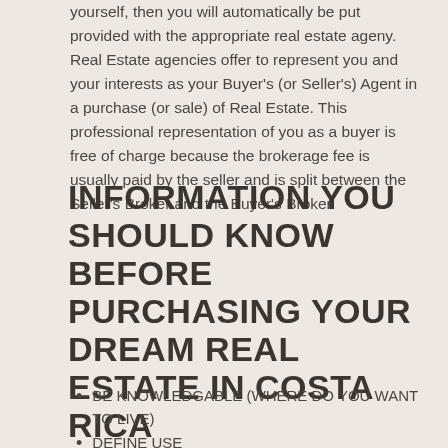yourself, then you will automatically be put provided with the appropriate real estate ageny. Real Estate agencies offer to represent you and your interests as your Buyer's (or Seller's) Agent in a purchase (or sale) of Real Estate. This professional representation of you as a buyer is free of charge because the brokerage fee is usually paid by the seller and is split between the Seller's Broker and the Buyer's Broker.
INFORMATION YOU SHOULD KNOW BEFORE PURCHASING YOUR DREAM REAL ESTATE IN COSTA RICA
BE KNOWLEDGABLE (WHERE DO YOU WANT TO LIVE)
DEFINE USE
DEFINE REAL ESTATE TYPEou and your interests as your Buyer's (or Seller's) Agent in a purchase (or sale) of Real Estate. This professional